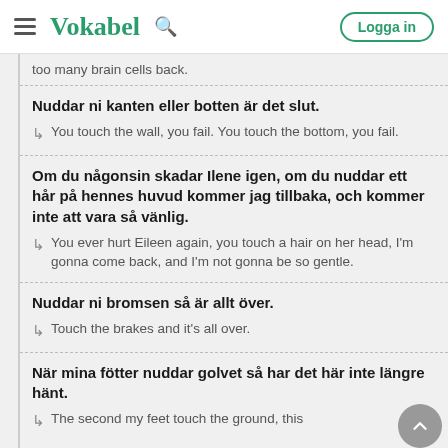Vokabel
too many brain cells back.
Nuddar ni kanten eller botten är det slut. / You touch the wall, you fail. You touch the bottom, you fail.
Om du någonsin skadar Ilene igen, om du nuddar ett hår på hennes huvud kommer jag tillbaka, och kommer inte att vara så vänlig. / You ever hurt Eileen again, you touch a hair on her head, I'm gonna come back, and I'm not gonna be so gentle.
Nuddar ni bromsen så är allt över. / Touch the brakes and it's all over.
När mina fötter nuddar golvet så har det här inte längre hänt. / The second my feet touch the ground, this